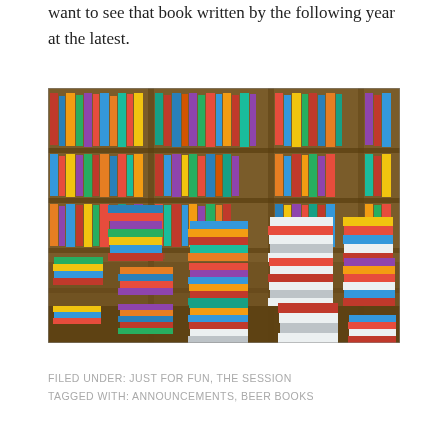want to see that book written by the following year at the latest.
[Figure (photo): A large bookshop or library with floor-to-ceiling wooden shelves packed densely with hundreds of colorful books, and stacks of books piled on the floor.]
FILED UNDER: JUST FOR FUN, THE SESSION
TAGGED WITH: ANNOUNCEMENTS, BEER BOOKS